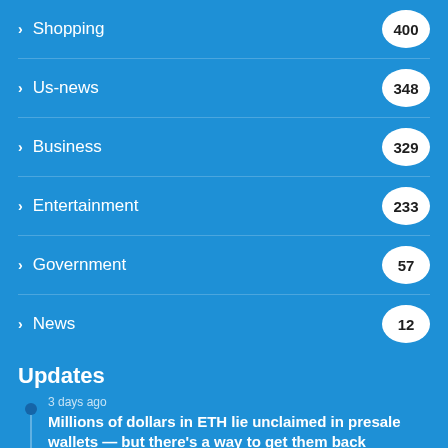Shopping 400
Us-news 348
Business 329
Entertainment 233
Government 57
News 12
Updates
3 days ago
Millions of dollars in ETH lie unclaimed in presale wallets — but there's a way to get them back
June 9, 2022
Lizzo And Her Mystery Boyfriend Make Red Carpet Debut And It's About Damn Time
2 weeks ago
Philip would've been proud of Lady Louise Windsor for...